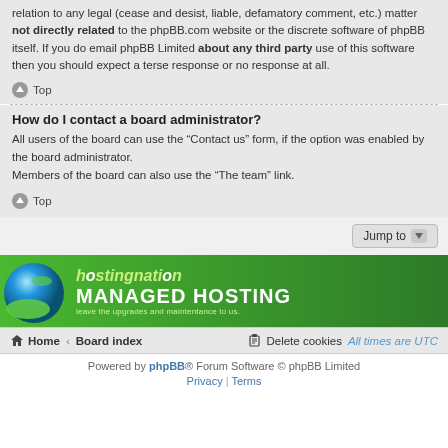relation to any legal (cease and desist, liable, defamatory comment, etc.) matter not directly related to the phpBB.com website or the discrete software of phpBB itself. If you do email phpBB Limited about any third party use of this software then you should expect a terse response or no response at all.
Top
How do I contact a board administrator?
All users of the board can use the “Contact us” form, if the option was enabled by the board administrator.
Members of the board can also use the “The team” link.
Top
[Figure (other): Jump to dropdown button]
[Figure (illustration): Hosting Nation managed hosting banner advertisement with globe logo, green background, and text: MANAGED HOSTING, hostingnation, leave the upgrades and maintentance to us.]
Home • Board index | Delete cookies | All times are UTC
Powered by phpBB® Forum Software © phpBB Limited
Privacy | Terms